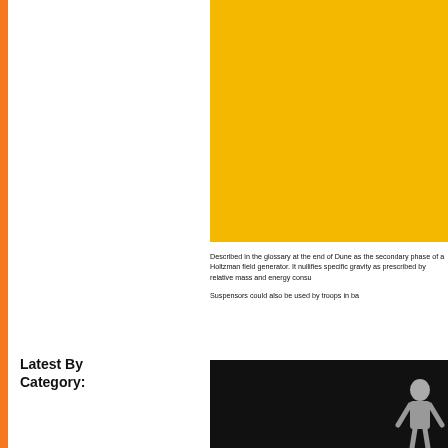[Figure (illustration): Yellow rectangular block filling upper right portion of the page]
Described in the glossary at the end of Dune as the secondary phase of a Holtzman field generator. It nullifies specific gravity as prescribed by relative mass and energy consu...
Suspensors could also be used by troops in ba...
Latest By Category:
[Figure (photo): Dark/black background photograph showing a muscular figure on the right side]